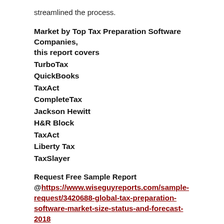streamlined the process.
Market by Top Tax Preparation Software Companies, this report covers
TurboTax
QuickBooks
TaxAct
CompleteTax
Jackson Hewitt
H&R Block
TaxAct
Liberty Tax
TaxSlayer
Request Free Sample Report @https://www.wiseguyreports.com/sample-request/3420688-global-tax-preparation-software-market-size-status-and-forecast-2018